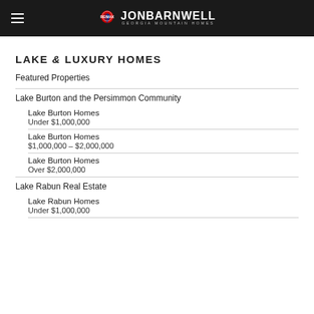JONBARNWELL GEORGIA MOUNTAIN HOMES
LAKE & LUXURY HOMES
Featured Properties
Lake Burton and the Persimmon Community
Lake Burton Homes
Under $1,000,000
Lake Burton Homes
$1,000,000 – $2,000,000
Lake Burton Homes
Over $2,000,000
Lake Rabun Real Estate
Lake Rabun Homes
Under $1,000,000